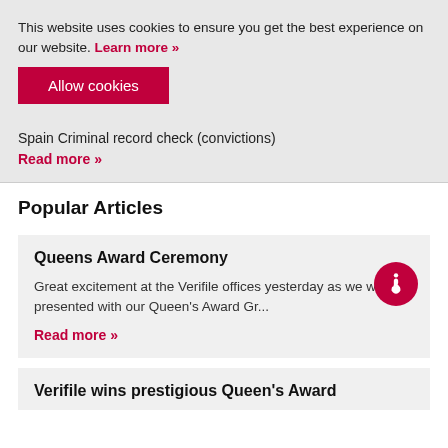This website uses cookies to ensure you get the best experience on our website. Learn more »
Allow cookies
Spain Criminal record check (convictions)
Read more »
Popular Articles
Queens Award Ceremony
Great excitement at the Verifile offices yesterday as we were presented with our Queen's Award Gr...
Read more »
Verifile wins prestigious Queen's Award